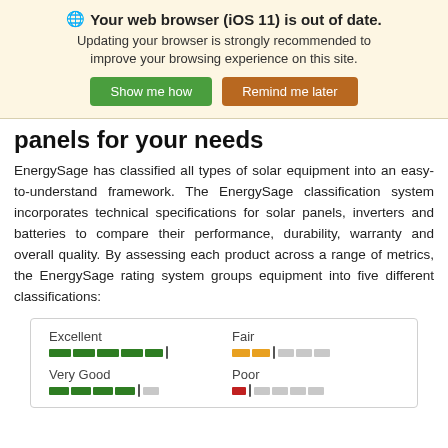🌐 Your web browser (iOS 11) is out of date. Updating your browser is strongly recommended to improve your browsing experience on this site.
panels for your needs
EnergySage has classified all types of solar equipment into an easy-to-understand framework. The EnergySage classification system incorporates technical specifications for solar panels, inverters and batteries to compare their performance, durability, warranty and overall quality. By assessing each product across a range of metrics, the EnergySage rating system groups equipment into five different classifications:
[Figure (infographic): A legend box showing four rating categories with colored bar indicators: Excellent (full dark green bar), Fair (partial orange bar with gray remainder), Very Good (mostly green bar with small gray), Poor (small red bar with gray remainder)]